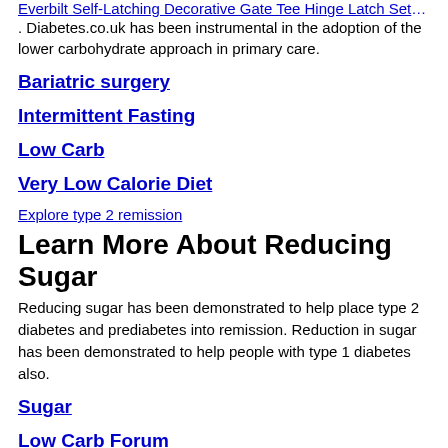Everbilt Self-Latching Decorative Gate Tee Hinge Latch Set wit. Diabetes.co.uk has been instrumental in the adoption of the lower carbohydrate approach in primary care.
Bariatric surgery
Intermittent Fasting
Low Carb
Very Low Calorie Diet
Explore type 2 remission
Learn More About Reducing Sugar
Reducing sugar has been demonstrated to help place type 2 diabetes and prediabetes into remission. Reduction in sugar has been demonstrated to help people with type 1 diabetes also.
Sugar
Low Carb Forum